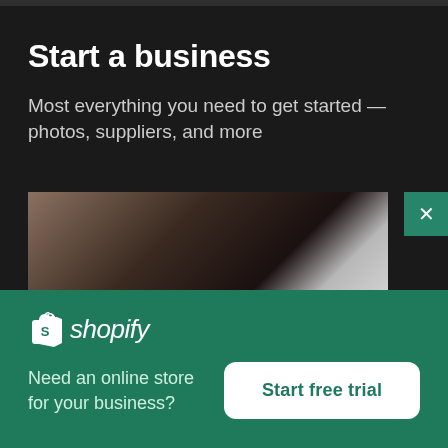Start a business
Most everything you need to get started — photos, suppliers, and more
[Figure (photo): Partial photo of a person's face/hair on a dark background with a grey rectangle to the right, partially visible]
[Figure (logo): Shopify logo: white shopping bag icon with 'S' on it, followed by italic white text 'shopify']
Need an online store for your business?
Start free trial